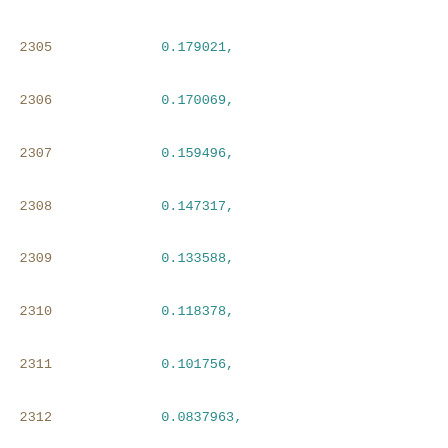2305    0.179021,
2306    0.170069,
2307    0.159496,
2308    0.147317,
2309    0.133588,
2310    0.118378,
2311    0.101756,
2312    0.0837963,
2313    0.0645704,
2314    0.0441497,
2315    0.0226037,
2316    -3.87531e-08,
2317    -0.0464046,
2318    -0.0931203,
2319    -0.244629,
2320    -0.916957
2321    ],
2322    [
2323        2.34053,
2324        0.320201,
2325        0.196488,
2326        0.181017,